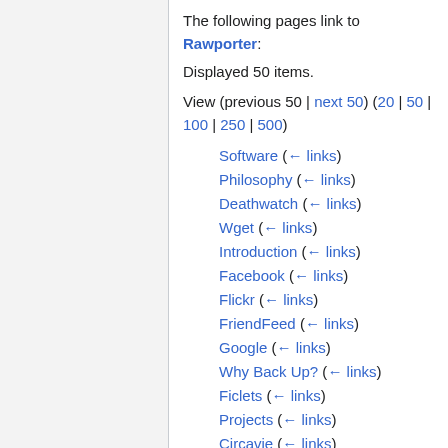The following pages link to Rawporter:
Displayed 50 items.
View (previous 50 | next 50) (20 | 50 | 100 | 250 | 500)
Software  (← links)
Philosophy  (← links)
Deathwatch  (← links)
Wget  (← links)
Introduction  (← links)
Facebook  (← links)
Flickr  (← links)
FriendFeed  (← links)
Google  (← links)
Why Back Up?  (← links)
Ficlets  (← links)
Projects  (← links)
Circavie  (← links)
Co.mments  (← links)